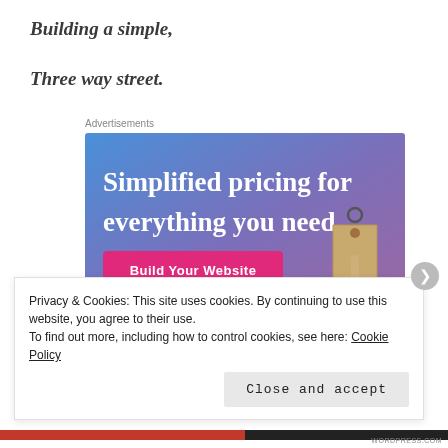Building a simple,
Three way street.
Advertisements
[Figure (illustration): Advertisement banner with gradient blue-purple background. Text: 'Simplified pricing for everything you need.' with a pink 'Build Your Website' button and a price tag illustration on the right.]
Privacy & Cookies: This site uses cookies. By continuing to use this website, you agree to their use.
To find out more, including how to control cookies, see here: Cookie Policy
Close and accept